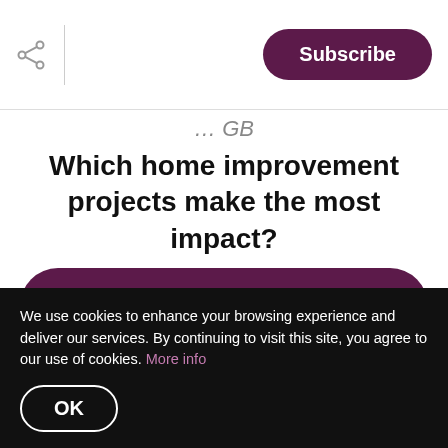Subscribe
… GB
Which home improvement projects make the most impact?
Find out now >
PA 1/837
The owners, Larry and Frank Yearick started
We use cookies to enhance your browsing experience and deliver our services. By continuing to visit this site, you agree to our use of cookies. More info
OK